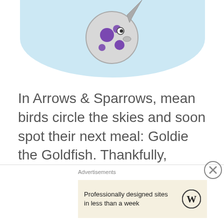[Figure (illustration): Cartoon fish (Goldie the Goldfish) with purple spots, partially visible at the top of the page against a light blue sky background]
In Arrows & Sparrows, mean birds circle the skies and soon spot their next meal: Goldie the Goldfish. Thankfully, you're there to protect Goldie with your trusty crossbow. To
Advertisements
Professionally designed sites in less than a week